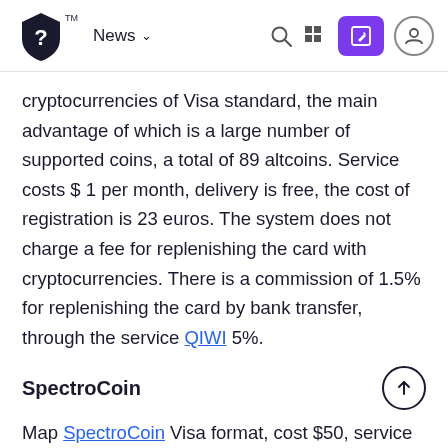News
cryptocurrencies of Visa standard, the main advantage of which is a large number of supported coins, a total of 89 altcoins. Service costs $ 1 per month, delivery is free, the cost of registration is 23 euros. The system does not charge a fee for replenishing the card with cryptocurrencies. There is a commission of 1.5% for replenishing the card by bank transfer, through the service QIWI 5%.
SpectroCoin
Map SpectroCoin Visa format, cost $50, service $1/1 euro (1 pound sterling). Verification